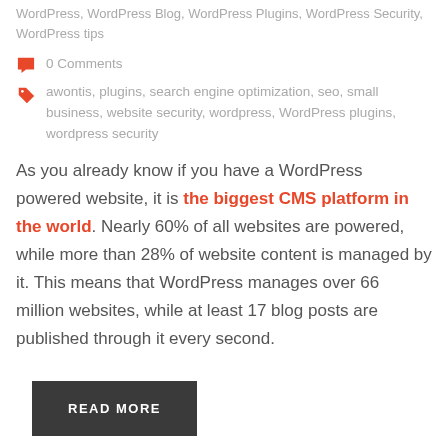WordPress, WordPress Blog, WordPress Plugins, WordPress Security, WordPress tips
0 Comments
awontis, plugins, search engine optimization, seo, small business, website security, wordpress, WordPress plugins, wordpress security
As you already know if you have a WordPress powered website, it is the biggest CMS platform in the world. Nearly 60% of all websites are powered, while more than 28% of website content is managed by it. This means that WordPress manages over 66 million websites, while at least 17 blog posts are published through it every second.
READ MORE